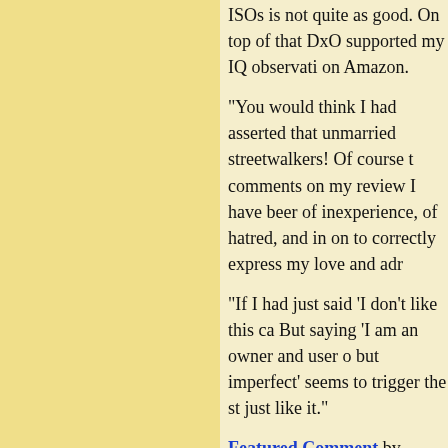ISOs is not quite as good. On top of that DxO supported my IQ observation on Amazon.
"You would think I had asserted that unmarried streetwalkers! Of course the comments on my review I have been of inexperience, of hatred, and in on to correctly express my love and adr
"If I had just said 'I don't like this ca But saying 'I am an owner and user o but imperfect' seems to trigger the st just like it."
Featured Comment by Jeffrey Gog or a suburban tract house with Tara-l the front, or a print of a painting with plastic on top of it.'
"You've articulated precisely the reas